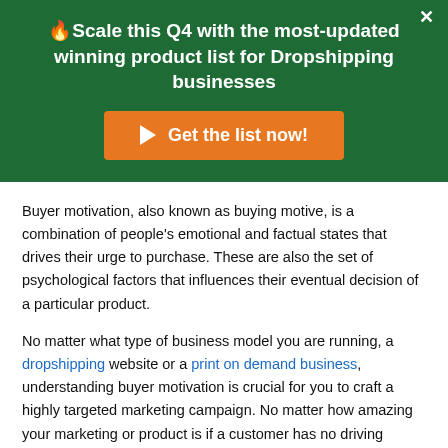🔥Scale this Q4 with the most-updated winning product list for Dropshipping businesses
[Figure (other): Orange call-to-action button with right-pointing arrow and text 'Get the list now!']
Buyer motivation, also known as buying motive, is a combination of people's emotional and factual states that drives their urge to purchase. These are also the set of psychological factors that influences their eventual decision of a particular product.
No matter what type of business model you are running, a dropshipping website or a print on demand business, understanding buyer motivation is crucial for you to craft a highly targeted marketing campaign. No matter how amazing your marketing or product is if a customer has no driving motivation to buy from your store, you'll end up with no